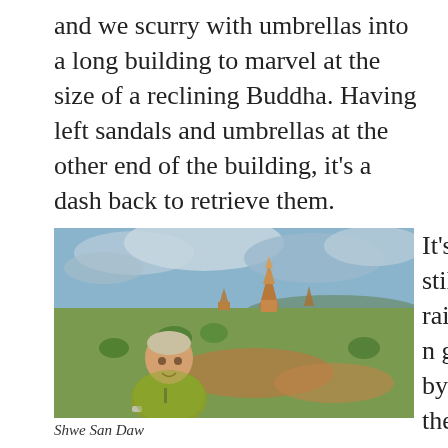and we scurry with umbrellas into a long building to marvel at the size of a reclining Buddha. Having left sandals and umbrellas at the other end of the building, it's a dash back to retrieve them.
[Figure (photo): A man in a yellow-green t-shirt sitting outdoors with a panoramic view of Bagan's temples and pagodas under a cloudy sky. The landscape shows vast plains with trees, ancient temples, and hills in the background.]
Shwe San Daw
It's still raining by the time we reach our sunse